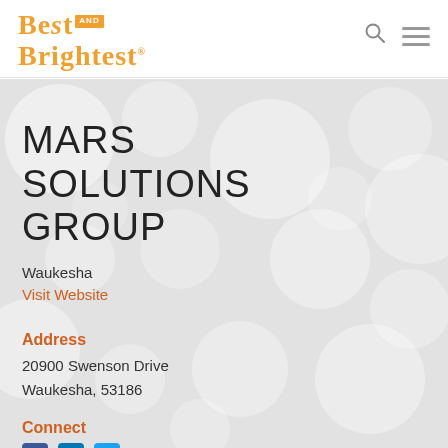BEST AND BRIGHTEST
MARS SOLUTIONS GROUP
Waukesha
Visit Website
Address
20900 Swenson Drive
Waukesha, 53186
Connect